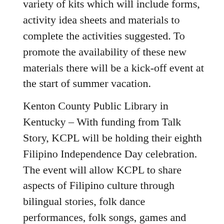variety of kits which will include forms, activity idea sheets and materials to complete the activities suggested. To promote the availability of these new materials there will be a kick-off event at the start of summer vacation.
Kenton County Public Library in Kentucky – With funding from Talk Story, KCPL will be holding their eighth Filipino Independence Day celebration. The event will allow KCPL to share aspects of Filipino culture through bilingual stories, folk dance performances, folk songs, games and crafts. KCPL is partnering with the Filipino-American Association of Northern Kentucky, the Filipino American Association of Southern Ohio, the Philippine Nurses